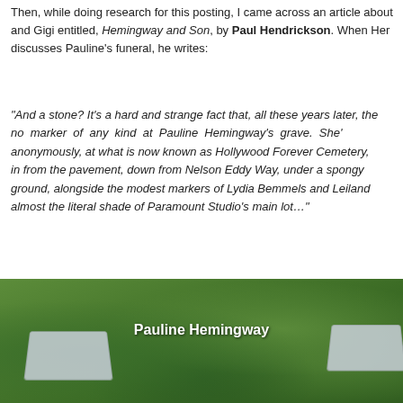Then, while doing research for this posting, I came across an article about and Gigi entitled, Hemingway and Son, by Paul Hendrickson. When He discusses Pauline's funeral, he writes:
"And a stone? It's a hard and strange fact that, all these years later, the no marker of any kind at Pauline Hemingway's grave. She' anonymously, at what is now known as Hollywood Forever Cemetery, in from the pavement, down from Nelson Eddy Way, under a spongy ground, alongside the modest markers of Lydia Bemmels and Leiland almost the literal shade of Paramount Studio's main lot..."
[Figure (photo): Photograph of a grass lawn at Hollywood Forever Cemetery showing two flat grave markers on either side, with the text label 'Pauline Hemingway' overlaid in white bold text in the center of the image.]